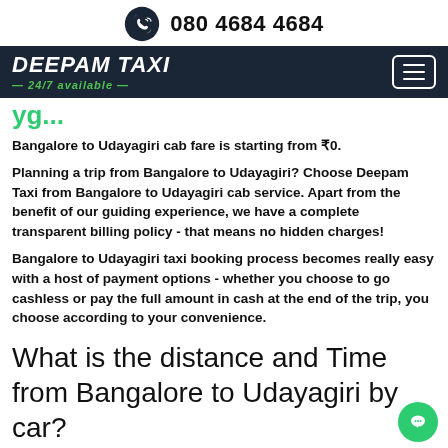080 4684 4684
[Figure (logo): Deepam Taxi logo with 24/7 available tagline on dark background, with hamburger menu button]
yg...
Bangalore to Udayagiri cab fare is starting from ₹0.
Planning a trip from Bangalore to Udayagiri? Choose Deepam Taxi from Bangalore to Udayagiri cab service. Apart from the benefit of our guiding experience, we have a complete transparent billing policy - that means no hidden charges!
Bangalore to Udayagiri taxi booking process becomes really easy with a host of payment options - whether you choose to go cashless or pay the full amount in cash at the end of the trip, you choose according to your convenience.
What is the distance and Time from Bangalore to Udayagiri by car?
Total distance from Bangalore to Udayagiri is about...